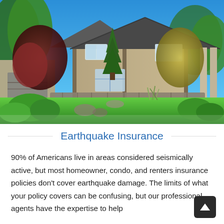[Figure (photo): Aerial/elevated view of a large craftsman-style suburban home with stone accents, green lawn, landscaping with trees including red-leafed and green trees, blue sky background.]
Earthquake Insurance
90% of Americans live in areas considered seismically active, but most homeowner, condo, and renters insurance policies don't cover earthquake damage. The limits of what your policy covers can be confusing, but our professional agents have the expertise to help